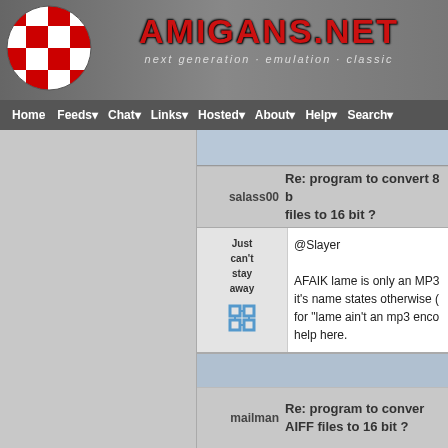AMIGANS.NET - next generation · emulation · classic
Home Feeds Chat Links Hosted About Help Search
salass00 - Re: program to convert 8 bit AIFF files to 16 bit ?
Just can't stay away
@Slayer

AFAIK lame is only an MP3 encoder despite what it's name states otherwise (LAME stands for "lame ain't an mp3 encoder") help here.
mailman - Re: program to convert AIFF files to 16 bit ?
Powered by XOOPS 2.0 © 2001-2016 The XOOPS Project